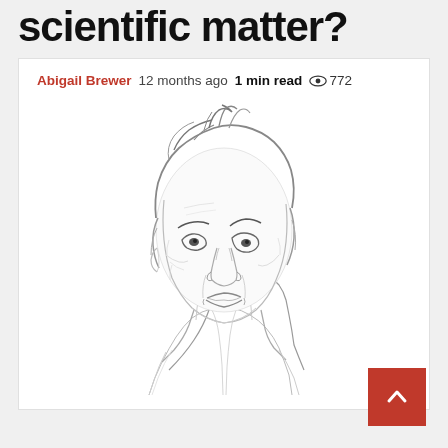scientific matter?
Abigail Brewer  12 months ago  1 min read  772
[Figure (illustration): Pencil sketch portrait of an elderly man with disheveled hair, wearing a jacket and open-collar shirt, looking slightly upward to the right. Black and white line drawing style.]